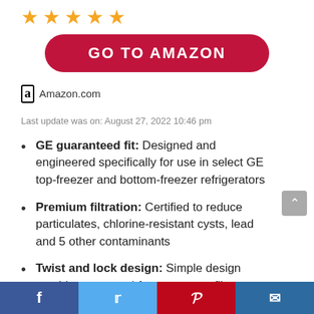[Figure (other): Five gold star rating icons]
[Figure (other): Red rounded button with text GO TO AMAZON in white bold letters]
Amazon.com
Last update was on: August 27, 2022 10:46 pm
GE guaranteed fit: Designed and engineered specifically for use in select GE top-freezer and bottom-freezer refrigerators
Premium filtration: Certified to reduce particulates, chlorine-resistant cysts, lead and 5 other contaminants
Twist and lock design: Simple design provides easy, tool-free, no-mess filter replacement
Facebook | Twitter | Pinterest | Email